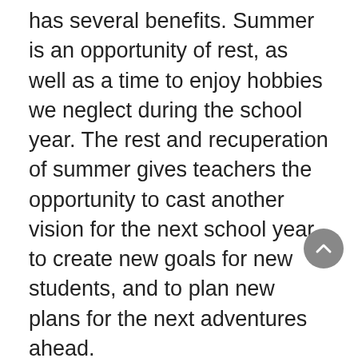has several benefits. Summer is an opportunity of rest, as well as a time to enjoy hobbies we neglect during the school year. The rest and recuperation of summer gives teachers the opportunity to cast another vision for the next school year, to create new goals for new students, and to plan new plans for the next adventures ahead.
The prophet Habakkuk explains to God the faults of Israel. They ignore the law, and never uphold justice, and when they attempt to be just then justice comes out perverted. Israel needs help according to Habakkuk. God tells the prophet the Chaldeons (Babylonians) will come to help